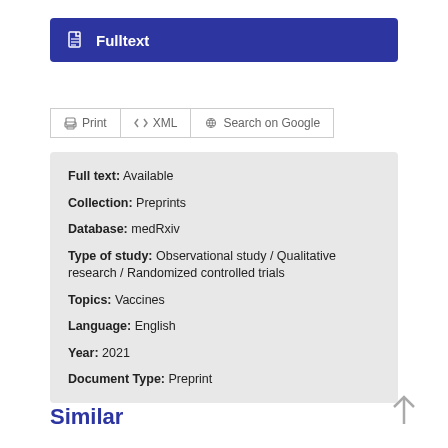Fulltext
Print  XML  Search on Google
Full text: Available
Collection: Preprints
Database: medRxiv
Type of study: Observational study / Qualitative research / Randomized controlled trials
Topics: Vaccines
Language: English
Year: 2021
Document Type: Preprint
Similar